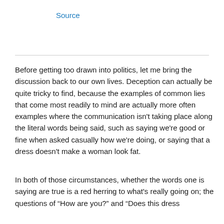Source
Before getting too drawn into politics, let me bring the discussion back to our own lives. Deception can actually be quite tricky to find, because the examples of common lies that come most readily to mind are actually more often examples where the communication isn't taking place along the literal words being said, such as saying we're good or fine when asked casually how we're doing, or saying that a dress doesn't make a woman look fat.
In both of those circumstances, whether the words one is saying are true is a red herring to what's really going on; the questions of “How are you?” and “Does this dress